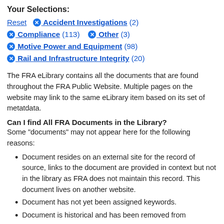Your Selections:
Reset  ✕ Accident Investigations (2)  ✕ Compliance (113)  ✕ Other (3)  ✕ Motive Power and Equipment (98)  ✕ Rail and Infrastructure Integrity (20)
The FRA eLibrary contains all the documents that are found throughout the FRA Public Website. Multiple pages on the website may link to the same eLibrary item based on its set of metatdata.
Can I find All FRA Documents in the Library?
Some "documents" may not appear here for the following reasons:
Document resides on an external site for the record of source, links to the document are provided in context but not in the library as FRA does not maintain this record. This document lives on another website.
Document has not yet been assigned keywords.
Document is historical and has been removed from...